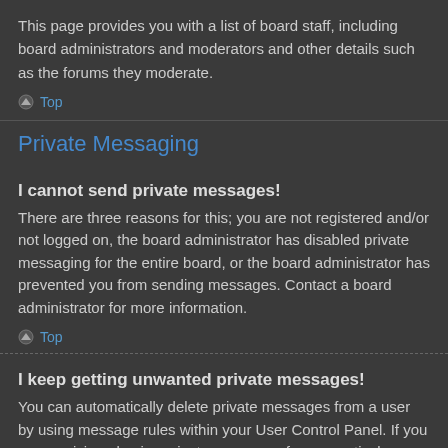This page provides you with a list of board staff, including board administrators and moderators and other details such as the forums they moderate.
⌃ Top
Private Messaging
I cannot send private messages!
There are three reasons for this; you are not registered and/or not logged on, the board administrator has disabled private messaging for the entire board, or the board administrator has prevented you from sending messages. Contact a board administrator for more information.
⌃ Top
I keep getting unwanted private messages!
You can automatically delete private messages from a user by using message rules within your User Control Panel. If you are receiving abusive private messages from a particular user, report the messages to the moderators; they have the power to prevent a user from sending private messages.
⌃ Top